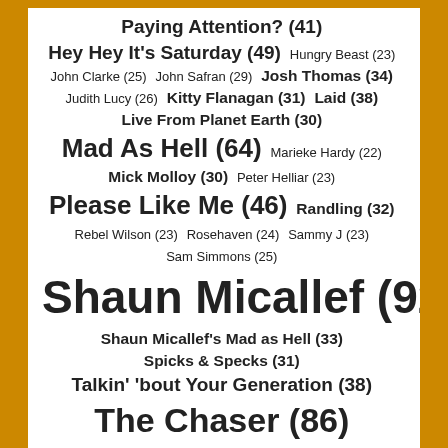[Figure (infographic): Tag cloud of Australian comedy shows and personalities with frequency counts in parentheses. Font size proportional to count. Items include: Paying Attention? (41), Hey Hey It's Saturday (49), Hungry Beast (23), John Clarke (25), John Safran (29), Josh Thomas (34), Judith Lucy (26), Kitty Flanagan (31), Laid (38), Live From Planet Earth (30), Mad As Hell (64), Marieke Hardy (22), Mick Molloy (30), Peter Helliar (23), Please Like Me (46), Randling (32), Rebel Wilson (23), Rosehaven (24), Sammy J (23), Sam Simmons (25), Shaun Micallef (92), Shaun Micallef's Mad as Hell (33), Spicks & Specks (31), Talkin' 'bout Your Generation (38), The Chaser (86), The Chaser's War on Everything (36), The Gruen Transfer (23), The Late Show (27), The Weekly (72), The Weekly with Charlie Pickering (37), Tom Gleeson (29)]